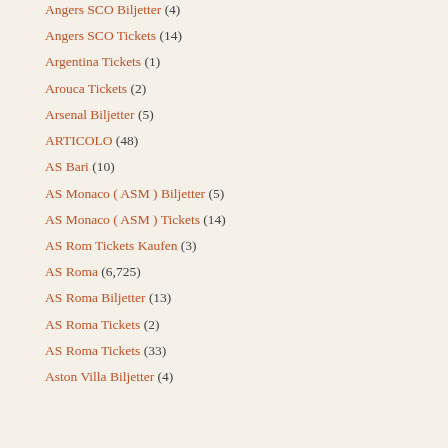Angers SCO Biljetter (4)
Angers SCO Tickets (14)
Argentina Tickets (1)
Arouca Tickets (2)
Arsenal Biljetter (5)
ARTICOLO (48)
AS Bari (10)
AS Monaco ( ASM ) Biljetter (5)
AS Monaco ( ASM ) Tickets (14)
AS Rom Tickets Kaufen (3)
AS Roma (6,725)
AS Roma Biljetter (13)
AS Roma Tickets (2)
AS Roma Tickets (33)
Aston Villa Biljetter (4)